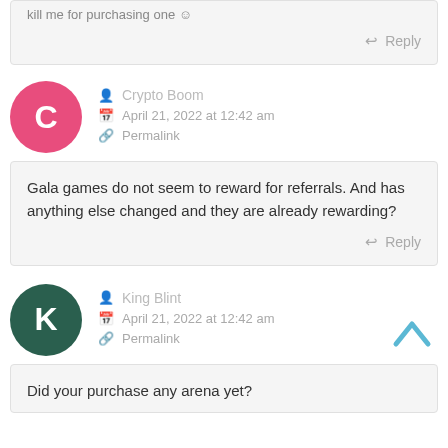kill me for purchasing one 😅
Reply
Crypto Boom
April 21, 2022 at 12:42 am
Permalink
Gala games do not seem to reward for referrals. And has anything else changed and they are already rewarding?
Reply
King Blint
April 21, 2022 at 12:42 am
Permalink
Did your purchase any arena yet?